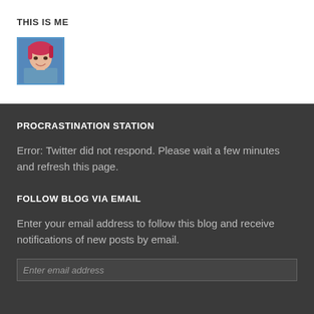THIS IS ME
[Figure (photo): Small avatar photo of a person with pink/red hair, smiling, with a blue border frame.]
PROCRASTINATION STATION
Error: Twitter did not respond. Please wait a few minutes and refresh this page.
FOLLOW BLOG VIA EMAIL
Enter your email address to follow this blog and receive notifications of new posts by email.